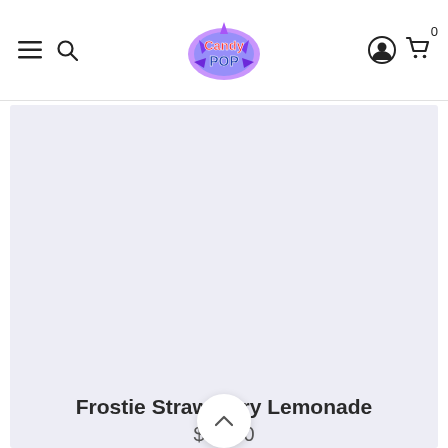[Figure (logo): CandyPop colorful splash logo in center of header]
Frostie Strawberry Lemonade
$10.00